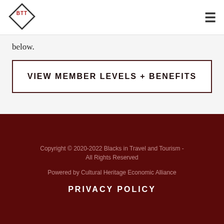[Figure (logo): BTT diamond logo with BTT text inside a diamond/rhombus shape]
below.
VIEW MEMBER LEVELS + BENEFITS
Copyright © 2020-2022 Blacks in Travel and Tourism - All Rights Reserved
Powered by Cultural Heritage Economic Alliance
PRIVACY POLICY